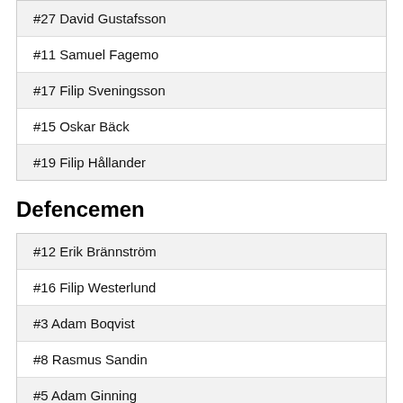#27 David Gustafsson
#11 Samuel Fagemo
#17 Filip Sveningsson
#15 Oskar Bäck
#19 Filip Hållander
Defencemen
#12 Erik Brännström
#16 Filip Westerlund
#3 Adam Boqvist
#8 Rasmus Sandin
#5 Adam Ginning
#9 Nils Lundqvist